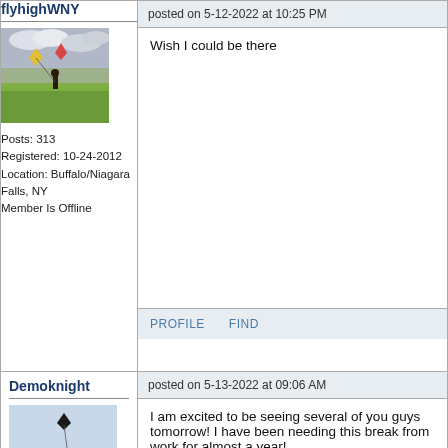flyhighWNY
posted on 5-12-2022 at 10:25 PM
[Figure (photo): User avatar showing a person flying a kite on a green grassy field with a cloudy sky]
Posts: 313
Registered: 10-24-2012
Location: Buffalo/Niagara Falls, NY
Member Is Offline
Wish I could be there
PROFILE   FIND
Demoknight
posted on 5-13-2022 at 09:06 AM
[Figure (photo): User avatar showing a person land kiteboarding on a beach with a kite above them]
I am excited to be seeing several of you guys tomorrow! I have been needing this break from work for almost a year!